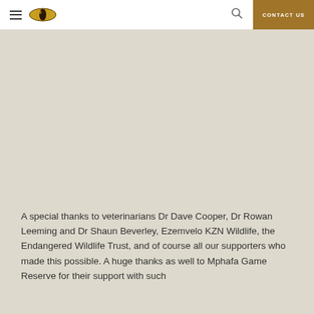CONTACT US
[Figure (photo): Large beige/tan background image area, appearing to be a wildlife or nature photograph, mostly washed out or blank in the visible portion.]
A special thanks to veterinarians Dr Dave Cooper, Dr Rowan Leeming and Dr Shaun Beverley, Ezemvelo KZN Wildlife, the Endangered Wildlife Trust, and of course all our supporters who made this possible. A huge thanks as well to Mphafa Game Reserve for their support with such